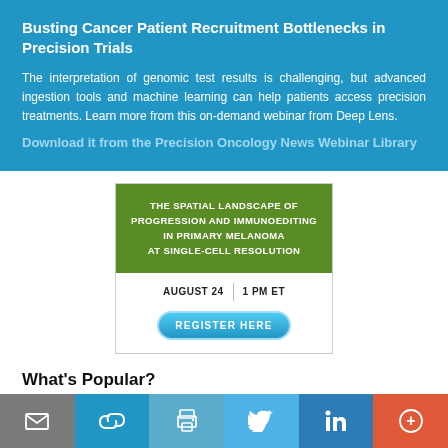Busting Cancer Patient Recruitment Bottlenecks in Precision Trials
The interpretation of genomic test results is challenging, but advanced ingestion tools and machine learning can help patients access precision treatments. Learn more from this on-demand webinar from Deep Lens.
Download it from the Precision Oncology News Webinar Library
[Figure (infographic): Webinar advertisement: 'The Spatial Landscape of Progression and Immunoediting in Primary Melanoma at Single-Cell Resolution' — August 24, 1 PM ET, with a Register Here button.]
What's Popular?
[Figure (infographic): Bottom social sharing bar with email, link, print, Twitter, LinkedIn, and more (+) buttons.]